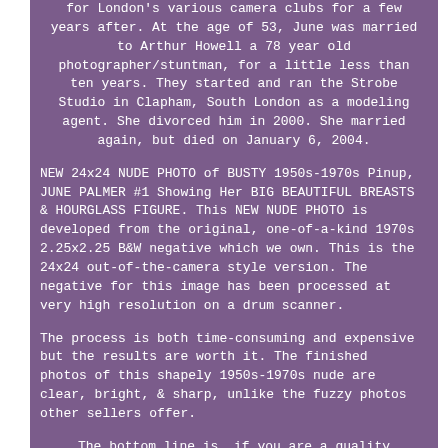for London's various camera clubs for a few years after. At the age of 53, June was married to Arthur Howell a 78 year old photographer/stuntman, for a little less than ten years. They started and ran the Strobe Studio in Clapham, South London as a modeling agent. She divorced him in 2000. She married again, but died on January 6, 2004.
NEW 24x24 NUDE PHOTO of BUSTY 1950s-1970s Pinup, JUNE PALMER #1 Showing Her BIG BEAUTIFUL BREASTS & HOURGLASS FIGURE. This NEW NUDE PHOTO is developed from the original, one-of-a-kind 1970s 2.25x2.25 B&W negative which we own. This is the 24x24 out-of-the-camera style version. The negative for this image has been processed at very high resolution on a drum scanner.
The process is both time-consuming and expensive but the results are worth it. The finished photos of this shapely 1950s-1970s nude are clear, bright, & sharp, unlike the fuzzy photos other sellers offer.
The bottom line is, if you are a quality fanatic, drum scanning delivers that extra level of quality in your images. Drum scans are sharper because of both the Photo Multiplier Tubes (PMTs) they employ and the lighting method. Drum scans also carry more detail of both highlights and shadows. The following items